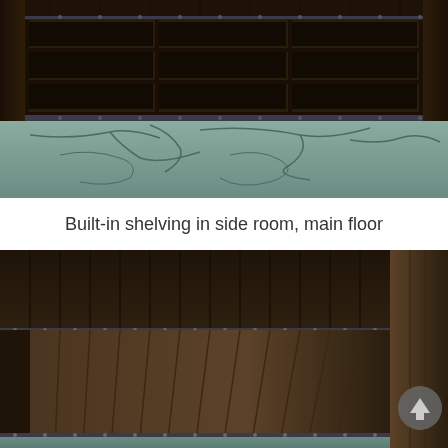[Figure (screenshot): 3D game screenshot showing built-in wooden shelving unit with grid pattern in a dark stone-floored side room. Dark wood panels with metal studs frame large shelving sections. Stone/cobblestone floor visible at bottom.]
Built-in shelving in side room, main floor
[Figure (screenshot): 3D game screenshot showing a dark wooden-paneled corridor or hallway interior. Vertical wood plank walls with metal rivets/studs, dark wood ceiling with matching riveted trim along the top edge. Stone floor visible at bottom. A grey circular button or icon visible on the right side.]